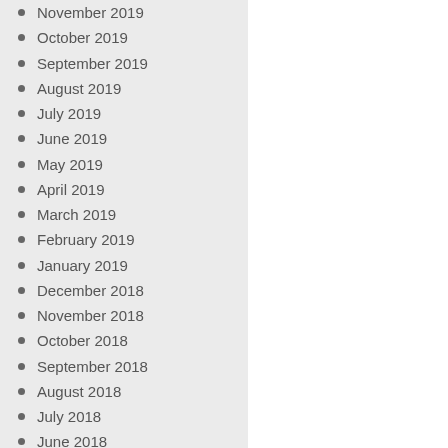November 2019
October 2019
September 2019
August 2019
July 2019
June 2019
May 2019
April 2019
March 2019
February 2019
January 2019
December 2018
November 2018
October 2018
September 2018
August 2018
July 2018
June 2018
May 2018
April 2018
March 2018
February 2018
January 2018
December 2017
November 2017